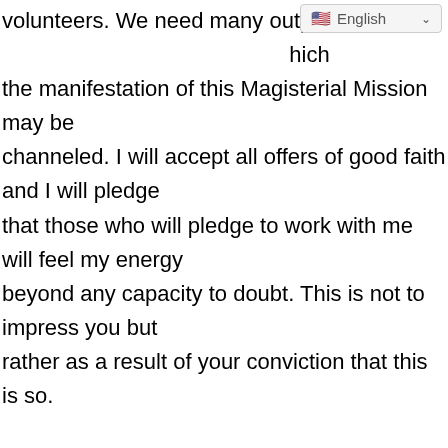volunteers. We need many outposts which the manifestation of this Magisterial Mission may be channeled. I will accept all offers of good faith and I will pledge that those who will pledge to work with me will feel my energy beyond any capacity to doubt. This is not to impress you but rather as a result of your conviction that this is so.

Indeed you have been well trained my dear friends and it is with great pleasure that I would accept such eager and devoted assistants as there is much to be done, surely there is something for everyone to do. You will be feeling greater and greater encircuitment and you will feel my circuitry as one of the ones that brushes you and when you register my energy signature we will commune as if our communion was unbroken